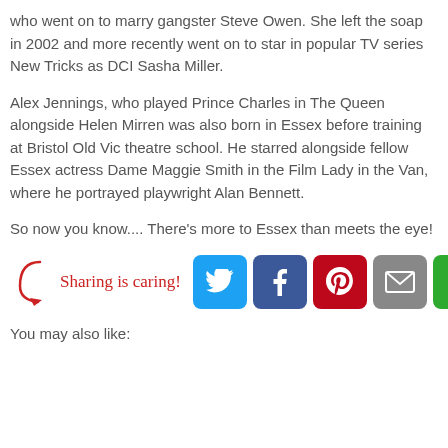who went on to marry gangster Steve Owen. She left the soap in 2002 and more recently went on to star in popular TV series New Tricks as DCI Sasha Miller.
Alex Jennings, who played Prince Charles in The Queen alongside Helen Mirren was also born in Essex before training at Bristol Old Vic theatre school. He starred alongside fellow Essex actress Dame Maggie Smith in the Film Lady in the Van, where he portrayed playwright Alan Bennett.
So now you know.... There's more to Essex than meets the eye!
[Figure (infographic): Sharing is caring! label with social share buttons: Twitter (blue bird icon), Facebook (blue f icon), Pinterest (red P icon), Email (grey envelope icon), ShareThis (green circular arrows icon)]
You may also like: